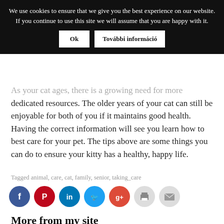We use cookies to ensure that we give you the best experience on our website. If you continue to use this site we will assume that you are happy with it.   Ok   További információ
As your cat ages, there is a growing need for more dedicated resources. The older years of your cat can still be enjoyable for both of you if it maintains good health. Having the correct information will see you learn how to best care for your pet. The tips above are some things you can do to ensure your kitty has a healthy, happy life.
Tagged animal, care, cat, family, senior, taking_care
[Figure (infographic): Social media sharing icons: Facebook (blue), Pinterest (red), LinkedIn (blue), Twitter (light blue), Google+ (red-orange), Print (light grey), Email (light grey)]
More from my site
[Figure (photo): Thumbnail image of a person (woman/child), brownish tones]
[Figure (photo): Thumbnail image, grey tones, appears to show a person or animal]